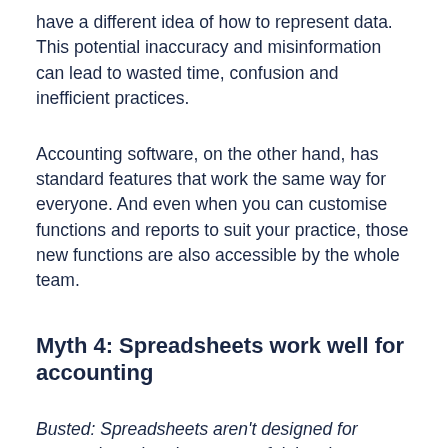have a different idea of how to represent data. This potential inaccuracy and misinformation can lead to wasted time, confusion and inefficient practices.
Accounting software, on the other hand, has standard features that work the same way for everyone. And even when you can customise functions and reports to suit your practice, those new functions are also accessible by the whole team.
Myth 4: Spreadsheets work well for accounting
Busted: Spreadsheets aren't designed for accounting – but they are useful, in other ways.
There are a host of problems with spreadsheets when they're used to run an accounting practice. Setting them up takes time – or money, if you need to go to an outside agency to do the heavy lifting.